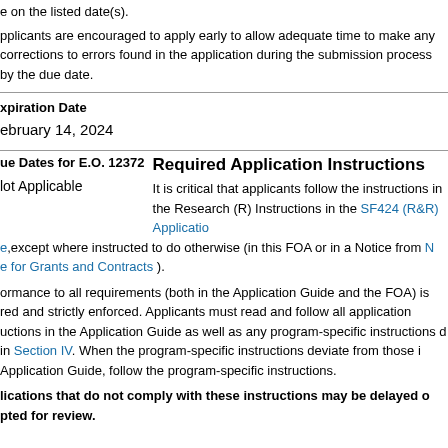e on the listed date(s).
Applicants are encouraged to apply early to allow adequate time to make any corrections to errors found in the application during the submission process by the due date.
Expiration Date
February 14, 2024
Due Dates for E.O. 12372
Not Applicable
Required Application Instructions
It is critical that applicants follow the instructions in the Research (R) Instructions in the SF424 (R&R) Application Guide,except where instructed to do otherwise (in this FOA or in a Notice from NIH Office for Grants and Contracts ).
Conformance to all requirements (both in the Application Guide and the FOA) is required and strictly enforced. Applicants must read and follow all application instructions in the Application Guide as well as any program-specific instructions found in Section IV. When the program-specific instructions deviate from those in the Application Guide, follow the program-specific instructions.
Applications that do not comply with these instructions may be delayed or not accepted for review.